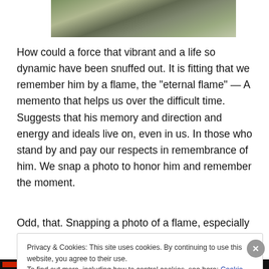[Figure (photo): Partial photo showing stone path or wall with green moss/plants, cropped at top of page]
How could a force that vibrant and a life so dynamic have been snuffed out. It is fitting that we remember him by a flame, the “eternal flame” — A memento that helps us over the difficult time. Suggests that his memory and direction and energy and ideals live on, even in us. In those who stand by and pay our respects in remembrance of him. We snap a photo to honor him and remember the moment.
Odd, that. Snapping a photo of a flame, especially an
Privacy & Cookies: This site uses cookies. By continuing to use this website, you agree to their use.
To find out more, including how to control cookies, see here: Cookie Policy
Close and accept